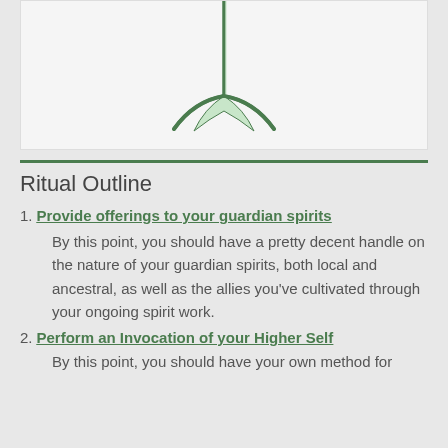[Figure (illustration): A stylized green arrow or plant stem pointing downward with a forked tip, on a light background]
Ritual Outline
1. Provide offerings to your guardian spirits
By this point, you should have a pretty decent handle on the nature of your guardian spirits, both local and ancestral, as well as the allies you've cultivated through your ongoing spirit work.
2. Perform an Invocation of your Higher Self
By this point, you should have your own method for